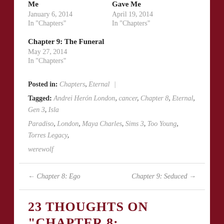Me
January 6, 2014
In "Chapters"
Gave Me
April 19, 2014
In "Chapters"
Chapter 9: The Funeral
May 27, 2014
In "Chapters"
Posted in: Chapters, Eternal | Tagged: Andrei Herón London, cancer, Chapter 8, Eternal, Gen 3, Isla Paradiso, London, Maya Charles, Sims 3, Too Young, Torres Legacy, werewolf
← Chapter 8: Ego
Chapter 9: Seduced →
23 THOUGHTS ON "CHAPTER 8: